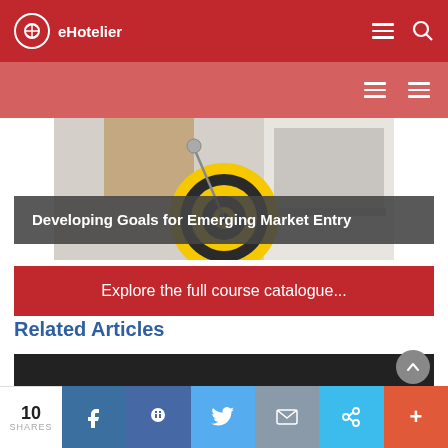eHotelier
[Figure (screenshot): Article thumbnail image showing a hand pointing a compass at a dartboard target (yellow and black), with a laptop in the background]
Developing Goals for Emerging Market Entry
Explore the full course catalogue...
Related Articles
[Figure (photo): Dark/black related article thumbnail image placeholder]